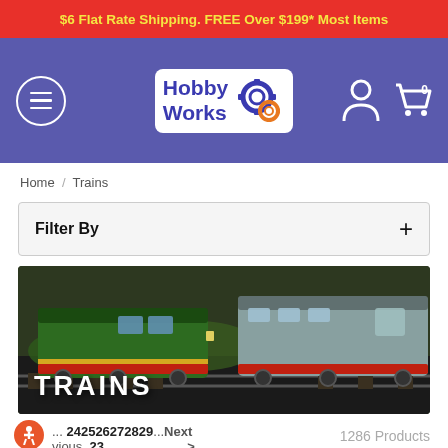$6 Flat Rate Shipping. FREE Over $199* Most Items
[Figure (logo): HobbyWorks logo with gear icons on purple navigation bar with hamburger menu and cart icon]
Home / Trains
Filter By +
[Figure (photo): Model train photo banner showing two green diesel locomotives on a track with the text TRAINS overlaid]
... 24 25 26 27 28 29 ...Next > vious 23     1286 Products